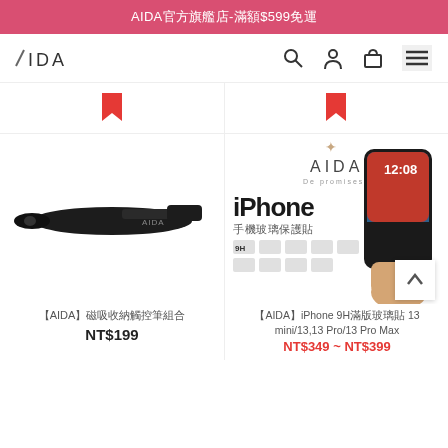AIDA官方旗艦店-滿額$599免運
[Figure (logo): AIDA brand logo in navigation bar with search, user, cart, and menu icons]
[Figure (photo): Partial product cards from previous row showing red bookmark icons]
[Figure (photo): AIDA stylus pen product photo - black stylus on white background]
【AIDA】磁吸收納觸控筆組合
NT$199
[Figure (photo): iPhone 9H glass screen protector product image with AIDA logo, iPhone mockup, and feature icons]
【AIDA】iPhone 9H滿版玻璃貼 13 mini/13,13 Pro/13 Pro Max
NT$349 ~ NT$399